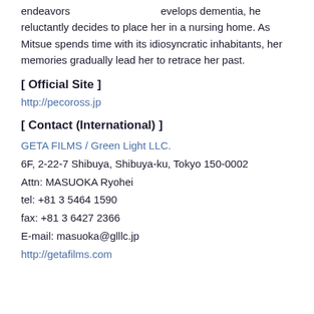endeavors … develops dementia, he reluctantly decides to place her in a nursing home. As Mitsue spends time with its idiosyncratic inhabitants, her memories gradually lead her to retrace her past.
[ Official Site ]
http://pecoross.jp
[ Contact (International) ]
GETA FILMS / Green Light LLC.
6F, 2-22-7 Shibuya, Shibuya-ku, Tokyo 150-0002
Attn: MASUOKA Ryohei
tel: +81 3 5464 1590
fax: +81 3 6427 2366
E-mail: masuoka@glllc.jp
http://getafilms.com